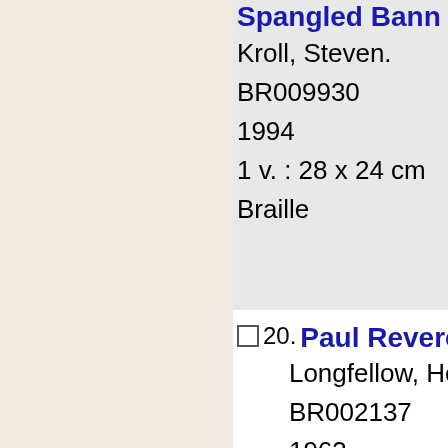Spangled Bann... Kroll, Steven. BR009930 1994 1 v. : 28 x 24 cm Braille
20. Paul Revere's r... Longfellow, Hen... BR002137 1963 1 pam. of press... Braille
Select All  Clear All  Add Se...
If you are a BTBL patron and wish to order books via th...
Contact Us
Phone: (800)952-5666 (Toll Free in CA) or (916)65...